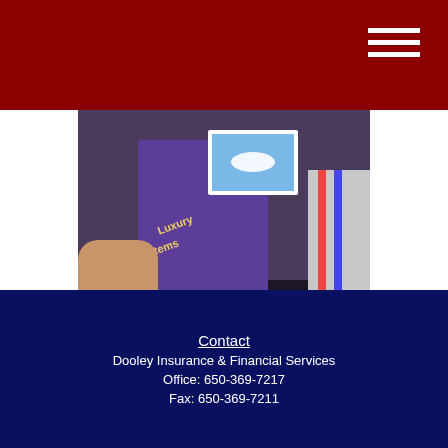[Figure (screenshot): Slideshow thumbnail showing luxury lifestyle items including a yacht photo and purple binder with text 'Luxury Items' and 'Leisure Acti...' with a 'START SLIDESHOW' button overlay and a play/slideshow icon in the bottom right]
Managing Your Lifestyle
Using smart management to get more of what you want and free up assets to invest.
Contact
Dooley Insurance & Financial Services
Office: 650-369-7217
Fax: 650-369-7211